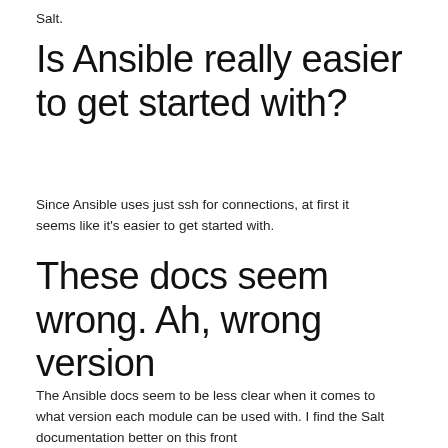Salt.
Is Ansible really easier to get started with?
Since Ansible uses just ssh for connections, at first it seems like it's easier to get started with.
These docs seem wrong. Ah, wrong version
The Ansible docs seem to be less clear when it comes to what version each module can be used with. I find the Salt documentation better on this front